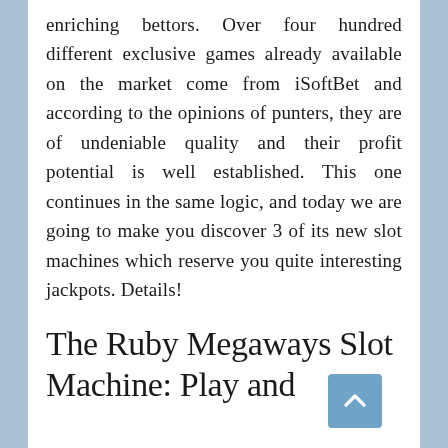enriching bettors. Over four hundred different exclusive games already available on the market come from iSoftBet and according to the opinions of punters, they are of undeniable quality and their profit potential is well established. This one continues in the same logic, and today we are going to make you discover 3 of its new slot machines which reserve you quite interesting jackpots. Details!
The Ruby Megaways Slot Machine: Play and